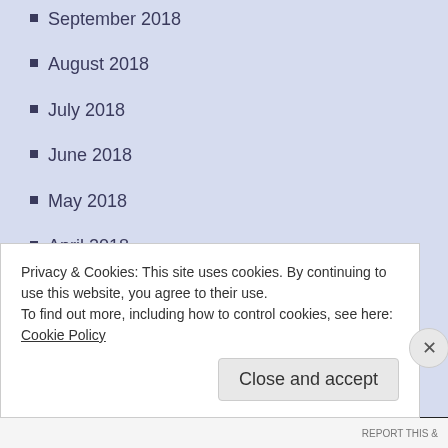September 2018
August 2018
July 2018
June 2018
May 2018
April 2018
March 2018
February 2018
January 2018
December 2017
November 2017
Privacy & Cookies: This site uses cookies. By continuing to use this website, you agree to their use.
To find out more, including how to control cookies, see here: Cookie Policy
Close and accept